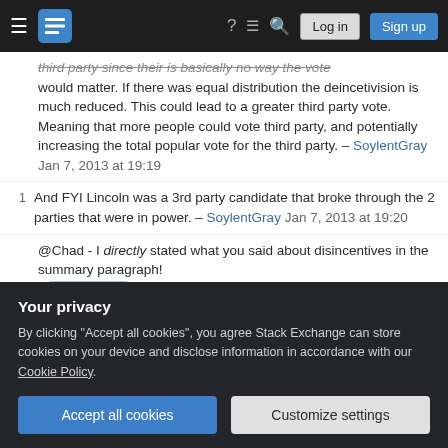Stack Exchange navigation bar with hamburger menu, logo, help, chat, search icons, Log in and Sign up buttons
third party since their is basically no way the vote would matter. If there was equal distribution the deincetivision is much reduced. This could lead to a greater third party vote. Meaning that more people could vote third party, and potentially increasing the total popular vote for the third party. – SoylentGray Jan 7, 2013 at 19:19
1  And FYI Lincoln was a 3rd party candidate that broke through the 2 parties that were in power. – SoylentGray Jan 7, 2013 at 19:20
@Chad - I directly stated what you said about disincentives in the summary paragraph! – Affable Geek  Jan 7, 2013 at 20:05
Add a comment
Your privacy
By clicking "Accept all cookies", you agree Stack Exchange can store cookies on your device and disclose information in accordance with our Cookie Policy.
Accept all cookies  Customize settings